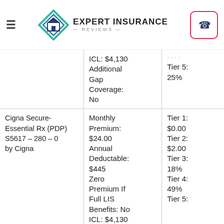Expert Insurance Reviews
| Plan | Details | Tiers |
| --- | --- | --- |
|  | ICL: $4,130
Additional Gap Coverage: No | Tier 5: 25% |
| Cigna Secure-Essential Rx (PDP) S5617 – 280 – 0 by Cigna | Monthly Premium: $24.00
Annual Deductable: $445
Zero Premium If Full LIS Benefits: No
ICL: $4,130
Additional | Tier 1: $0.00
Tier 2: $2.00
Tier 3: 18%
Tier 4: 49%
Tier 5: |